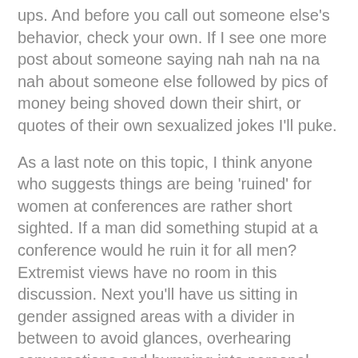ups. And before you call out someone else's behavior, check your own. If I see one more post about someone saying nah nah na na nah about someone else followed by pics of money being shoved down their shirt, or quotes of their own sexualized jokes I'll puke.
As a last note on this topic, I think anyone who suggests things are being 'ruined' for women at conferences are rather short sighted. If a man did something stupid at a conference would he ruin it for all men? Extremist views have no room in this discussion. Next you'll have us sitting in gender assigned areas with a divider in between to avoid glances, overhearing conversations and bumping into personal space.
Those are my thoughts. What are your yours?